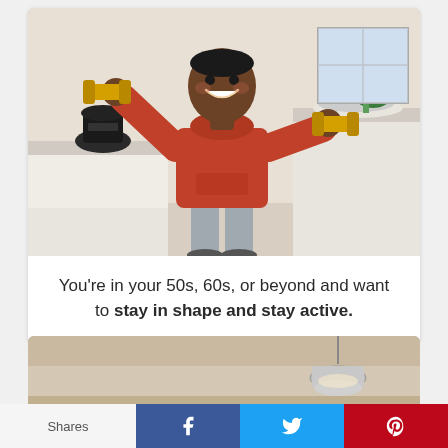[Figure (photo): An older Black woman wearing a red hoodie exercises with yellow dumbbells in a kitchen, smiling at the camera. Kitchen appliances and a plate of vegetables visible in background.]
You're in your 50s, 60s, or beyond and want to stay in shape and stay active.
[Figure (photo): Partial view of a room interior with a pendant lamp hanging from the ceiling, warm beige tones.]
Shares